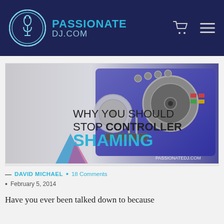PASSIONATE DJ.COM
[Figure (photo): DJ controller image with text overlay: WHY YOU SHOULD STOP CONTROLLER SHAMING, with PASSIONATEDJ.COM watermark]
— DAVID MICHAEL • 18 Comments • February 5, 2014
Have you ever been talked down to because